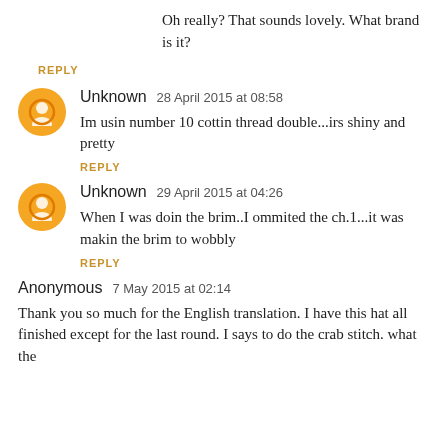Oh really? That sounds lovely. What brand is it?
REPLY
Unknown  28 April 2015 at 08:58
Im usin number 10 cottin thread double...irs shiny and pretty
REPLY
Unknown  29 April 2015 at 04:26
When I was doin the brim..I ommited the ch.1...it was makin the brim to wobbly
REPLY
Anonymous  7 May 2015 at 02:14
Thank you so much for the English translation. I have this hat all finished except for the last round. I says to do the crab stitch. what the